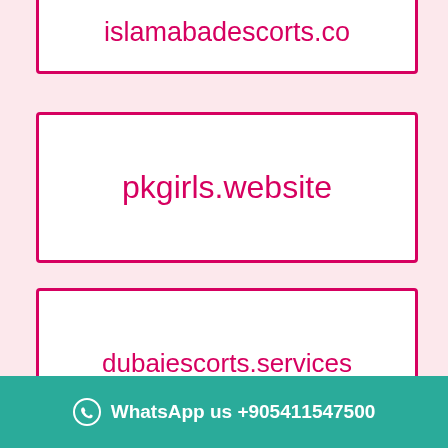islamabadescorts.co
pkgirls.website
dubaiescorts.services
murreeislamabadescorts.com
WhatsApp us +905411547500